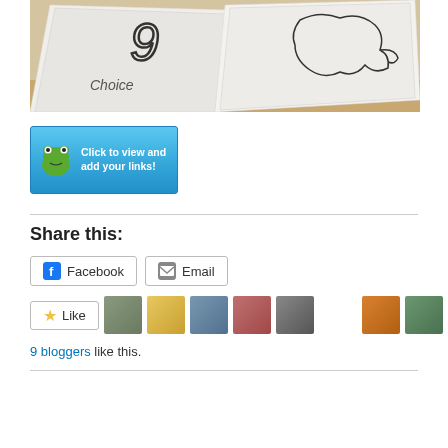[Figure (photo): Photo of folded paper/sketchbook with pencil drawings including what appears to be a number 9 and an elephant sketch, lying on a wooden surface]
[Figure (other): Blue button with frog icon reading 'Click to view and add your links!']
Share this:
[Figure (other): Facebook share button]
[Figure (other): Email share button]
[Figure (other): Like button with star icon and 9 blogger avatars]
9 bloggers like this.